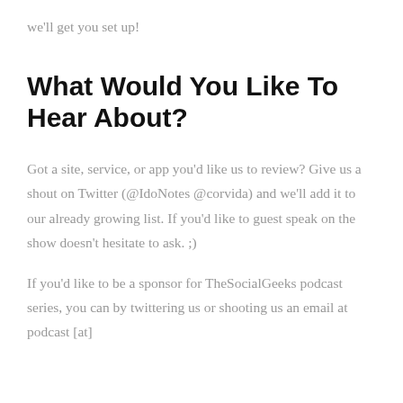we'll get you set up!
What Would You Like To Hear About?
Got a site, service, or app you'd like us to review? Give us a shout on Twitter (@IdoNotes @corvida) and we'll add it to our already growing list. If you'd like to guest speak on the show doesn't hesitate to ask. ;)
If you'd like to be a sponsor for TheSocialGeeks podcast series, you can by twittering us or shooting us an email at podcast [at]